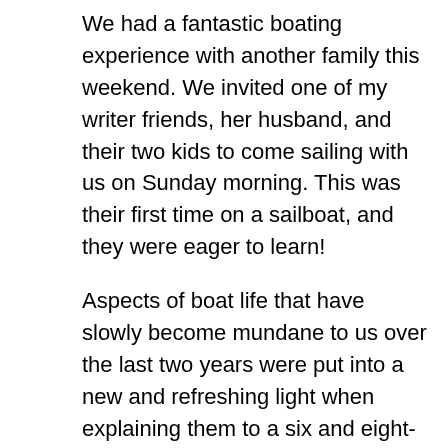We had a fantastic boating experience with another family this weekend. We invited one of my writer friends, her husband, and their two kids to come sailing with us on Sunday morning. This was their first time on a sailboat, and they were eager to learn!
Aspects of boat life that have slowly become mundane to us over the last two years were put into a new and refreshing light when explaining them to a six and eight-year-old. Getting off the dock became more than throwing lines and getting out to sail as quickly as possible. It turned into a fascinating explanation of WHY for everything. Why are there so many ropes? Why do you tie them that way? Why do we throw that over there? Why does the engine make that noise? Why do you have to look for water coming